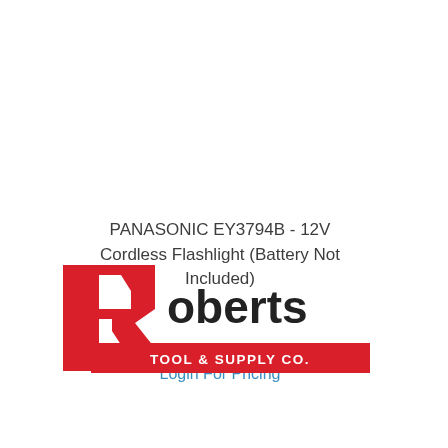PANASONIC EY3794B - 12V Cordless Flashlight (Battery Not Included)
Login For Pricing
[Figure (logo): Roberts Tool & Supply Co. logo — large red R with white cutout, followed by 'oberts' in black bold text, 'TOOL & SUPPLY CO.' in white text on a red rectangular bar beneath]